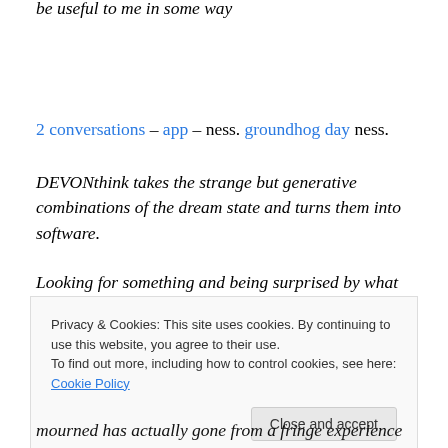be useful to me in some way
2 conversations – app – ness. groundhog day ness.
DEVONthink takes the strange but generative combinations of the dream state and turns them into software.
Looking for something and being surprised by what you
Privacy & Cookies: This site uses cookies. By continuing to use this website, you agree to their use. To find out more, including how to control cookies, see here: Cookie Policy
Close and accept
mourned has actually gone from a fringe experience to the